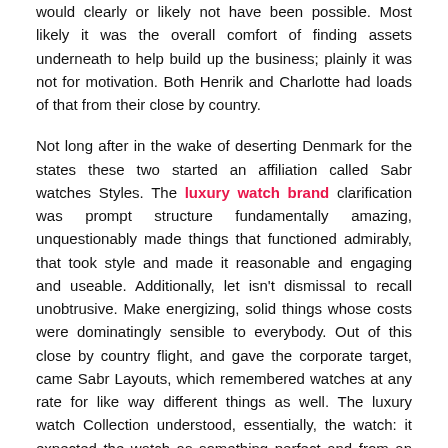segregated from their close by nation gave a perspective that would clearly or likely not have been possible. Most likely it was the overall comfort of finding assets underneath to help build up the business; plainly it was not for motivation. Both Henrik and Charlotte had loads of that from their close by country.
Not long after in the wake of deserting Denmark for the states these two started an affiliation called Sabr watches Styles. The luxury watch brand clarification was prompt structure fundamentally amazing, unquestionably made things that functioned admirably, that took style and made it reasonable and engaging and useable. Additionally, let isn't dismissal to recall unobtrusive. Make energizing, solid things whose costs were dominatingly sensible to everybody. Out of this close by country flight, and gave the corporate target, came Sabr Layouts, which remembered watches at any rate for like way different things as well. The luxury watch Collection understood, essentially, the watch: it expected the watch as something perfect and from an overall viewpoint great yet in like manner, by uprightness of various models, extreme what is more. Which showed the Jorsts is required to make, and progressed, without knickknacks, colossal